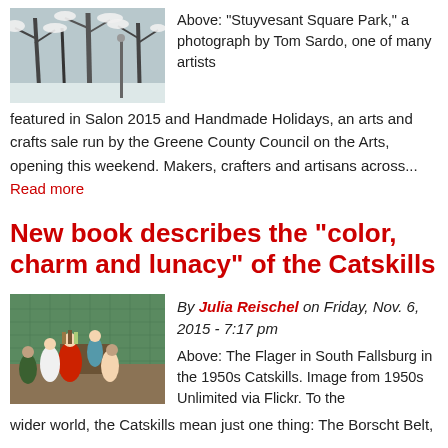[Figure (photo): Black and white photograph of Stuyvesant Square Park in winter with snow-covered trees]
Above: "Stuyvesant Square Park," a photograph by Tom Sardo, one of many artists featured in Salon 2015 and Handmade Holidays, an arts and crafts sale run by the Greene County Council on the Arts, opening this weekend. Makers, crafters and artisans across... Read more
New book describes the "color, charm and lunacy" of the Catskills
[Figure (photo): Color photograph of The Flager in South Fallsburg in the 1950s Catskills showing people socializing in a lounge area]
By Julia Reischel on Friday, Nov. 6, 2015 - 7:17 pm
Above: The Flager in South Fallsburg in the 1950s Catskills. Image from 1950s Unlimited via Flickr. To the wider world, the Catskills mean just one thing: The Borscht Belt,